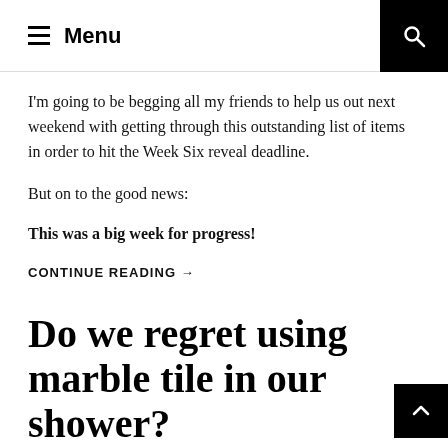Menu
I'm going to be begging all my friends to help us out next weekend with getting through this outstanding list of items in order to hit the Week Six reveal deadline.
But on to the good news:
This was a big week for progress!
CONTINUE READING →
Do we regret using marble tile in our shower?
August 27, 2019